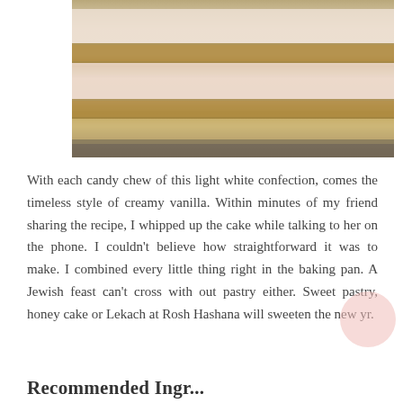[Figure (photo): Close-up photo of layered cake slices with cream filling and crumbly brown crust layers, viewed from the side, placed on white parchment paper on a dark surface]
With each candy chew of this light white confection, comes the timeless style of creamy vanilla. Within minutes of my friend sharing the recipe, I whipped up the cake while talking to her on the phone. I couldn't believe how straightforward it was to make. I combined every little thing right in the baking pan. A Jewish feast can't cross with out pastry either. Sweet pastry, honey cake or Lekach at Rosh Hashana will sweeten the new yr.
Recommended Ingredients